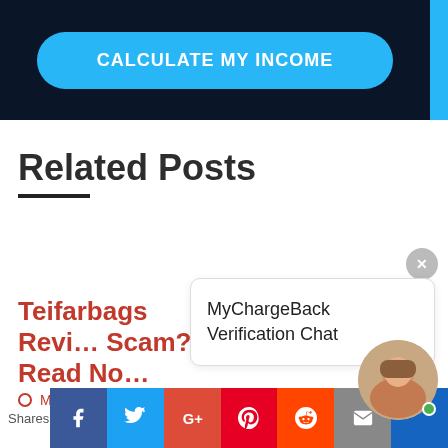[Figure (screenshot): Dark navy banner with a blue rounded 'CALCULATE MY INCOME' button]
Related Posts
Teifarbags Revi… Scam? Read No…
MyChargeBack Verification Chat
May 31, 2022
[Figure (screenshot): Social sharing bar with Facebook, Twitter, Google+, Pinterest, Reddit, Email buttons and a Shares label]